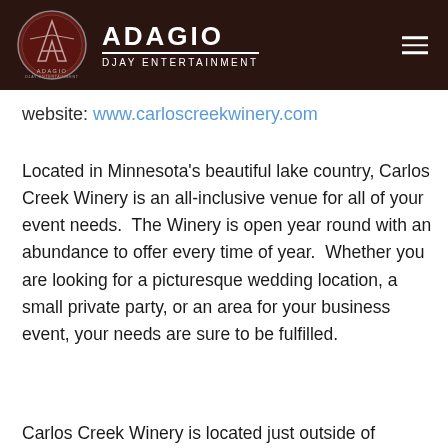[Figure (logo): Adagio Djay Entertainment logo — circular dark red emblem with stylized A and text, beside 'ADAGIO' in large white letters and 'DJAY ENTERTAINMENT' subtitle, on dark brown header bar]
website: www.carloscreekwinery.com
Located in Minnesota's beautiful lake country, Carlos Creek Winery is an all-inclusive venue for all of your event needs.  The Winery is open year round with an abundance to offer every time of year.  Whether you are looking for a picturesque wedding location, a small private party, or an area for your business event, your needs are sure to be fulfilled.
Carlos Creek Winery is located just outside of